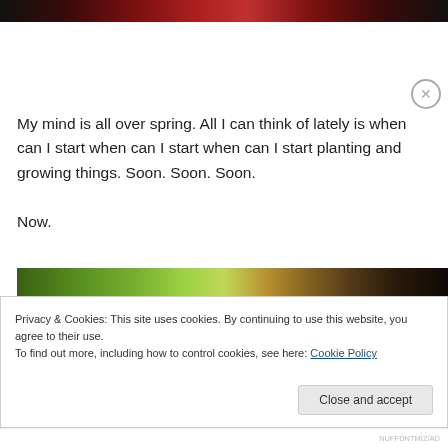[Figure (photo): Top portion of a photo showing dark red and black tones, appears to be a floral or plant image]
My mind is all over spring. All I can think of lately is when can I start when can I start when can I start planting and growing things. Soon. Soon. Soon.

Now.
[Figure (photo): Partial photo showing green garden foliage and plants with dark areas]
Privacy & Cookies: This site uses cookies. By continuing to use this website, you agree to their use.
To find out more, including how to control cookies, see here: Cookie Policy